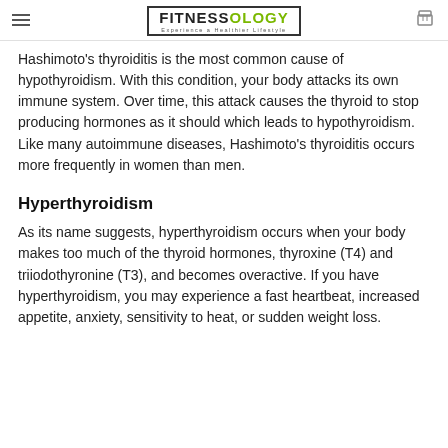FITNESSOLOGY — Experience a Healthier Lifestyle
Hashimoto's thyroiditis is the most common cause of hypothyroidism. With this condition, your body attacks its own immune system. Over time, this attack causes the thyroid to stop producing hormones as it should which leads to hypothyroidism. Like many autoimmune diseases, Hashimoto's thyroiditis occurs more frequently in women than men.
Hyperthyroidism
As its name suggests, hyperthyroidism occurs when your body makes too much of the thyroid hormones, thyroxine (T4) and triiodothyronine (T3), and becomes overactive. If you have hyperthyroidism, you may experience a fast heartbeat, increased appetite, anxiety, sensitivity to heat, or sudden weight loss.